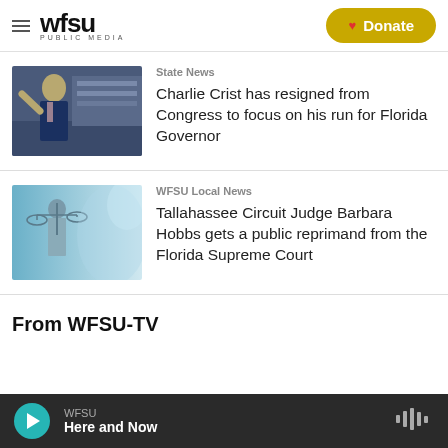WFSU PUBLIC MEDIA — Donate
State News
Charlie Crist has resigned from Congress to focus on his run for Florida Governor
WFSU Local News
Tallahassee Circuit Judge Barbara Hobbs gets a public reprimand from the Florida Supreme Court
From WFSU-TV
WFSU — Here and Now